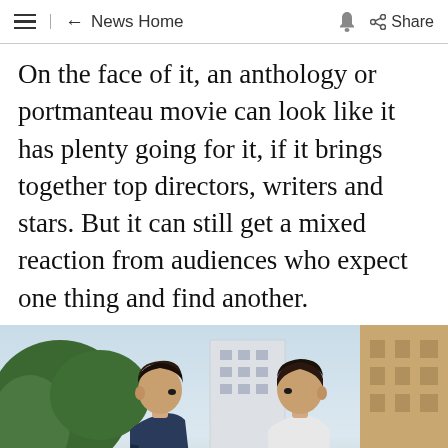≡  ← News Home  🔔  Share
On the face of it, an anthology or portmanteau movie can look like it has plenty going for it, if it brings together top directors, writers and stars. But it can still get a mixed reaction from audiences who expect one thing and find another.
[Figure (photo): Two women with short dark hair facing each other outdoors, with trees and buildings in the background. A white X close button appears in the bottom right of the image.]
Ad
[Figure (photo): Partial bottom image showing outdoor scene, partially cut off at bottom of page.]